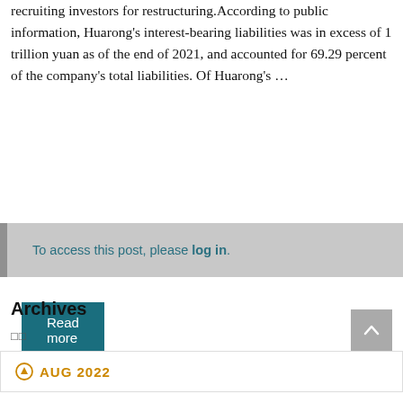recruiting investors for restructuring.According to public information, Huarong's interest-bearing liabilities was in excess of 1 trillion yuan as of the end of 2021, and accounted for 69.29 percent of the company's total liabilities. Of Huarong's …
Read more
To access this post, please log in.
Archives
□□
⬆ AUG 2022